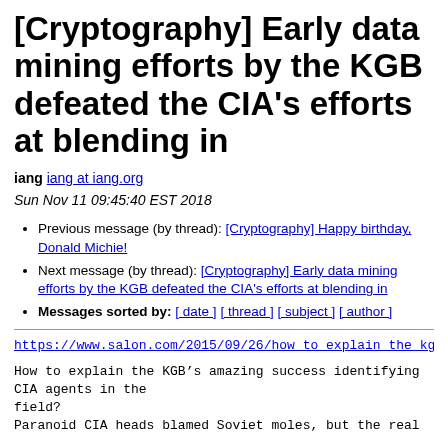[Cryptography] Early data mining efforts by the KGB defeated the CIA's efforts at blending in
iang iang at iang.org
Sun Nov 11 09:45:40 EST 2018
Previous message (by thread): [Cryptography] Happy birthday, Donald Michie!
Next message (by thread): [Cryptography] Early data mining efforts by the KGB defeated the CIA's efforts at blending in
Messages sorted by: [ date ] [ thread ] [ subject ] [ author ]
https://www.salon.com/2015/09/26/how_to_explain_the_kgbs
How to explain the KGB’s amazing success identifying CIA agents in the
field?
Paranoid CIA heads blamed Soviet moles, but the real